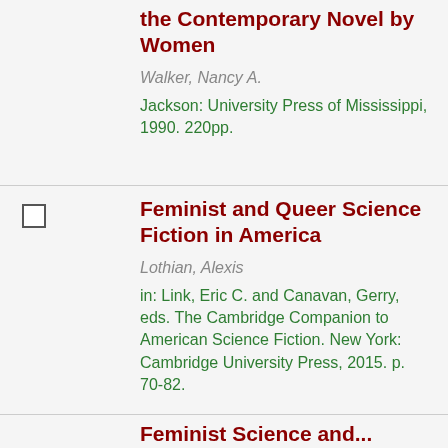the Contemporary Novel by Women
Walker, Nancy A.
Jackson: University Press of Mississippi, 1990. 220pp.
Feminist and Queer Science Fiction in America
Lothian, Alexis
in: Link, Eric C. and Canavan, Gerry, eds. The Cambridge Companion to American Science Fiction. New York: Cambridge University Press, 2015. p. 70-82.
Feminist Science and...